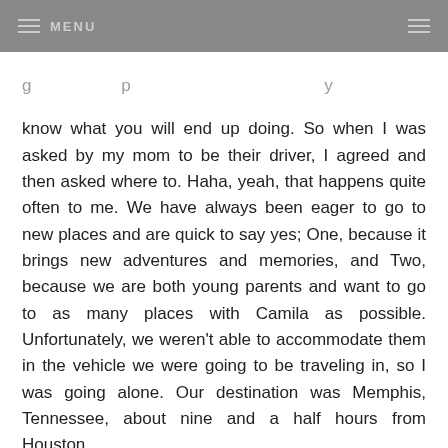MENU
know what you will end up doing. So when I was asked by my mom to be their driver, I agreed and then asked where to. Haha, yeah, that happens quite often to me. We have always been eager to go to new places and are quick to say yes; One, because it brings new adventures and memories, and Two, because we are both young parents and want to go to as many places with Camila as possible. Unfortunately, we weren't able to accommodate them in the vehicle we were going to be traveling in, so I was going alone. Our destination was Memphis, Tennessee, about nine and a half hours from Houston.
Once there I had planned to go explore the city, visit some museums and make it out to Graceland, the place that was once the mansion to Elvis Presley. The plans changed and that